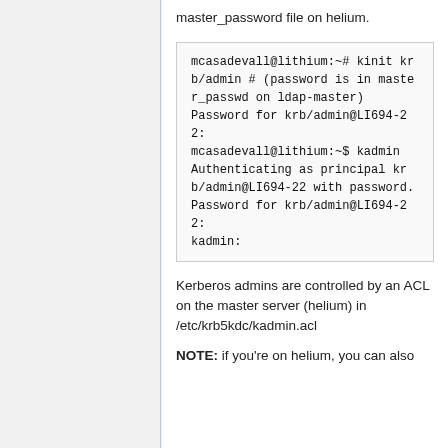master_password file on helium.
mcasadevall@lithium:~# kinit krb/admin # (password is in master_passwd on ldap-master)
Password for krb/admin@LI694-22:
mcasadevall@lithium:~$ kadmin
Authenticating as principal krb/admin@LI694-22 with password.
Password for krb/admin@LI694-22:
kadmin:
Kerberos admins are controlled by an ACL on the master server (helium) in /etc/krb5kdc/kadmin.acl
NOTE: if you're on helium, you can also